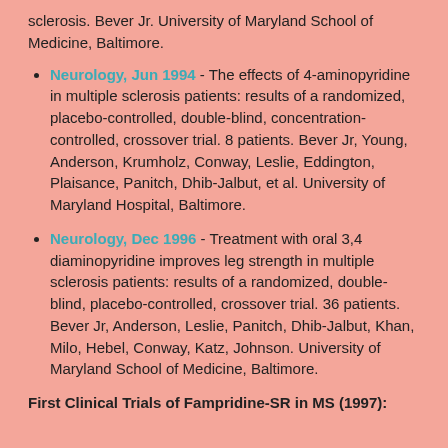sclerosis. Bever Jr. University of Maryland School of Medicine, Baltimore.
Neurology, Jun 1994 - The effects of 4-aminopyridine in multiple sclerosis patients: results of a randomized, placebo-controlled, double-blind, concentration-controlled, crossover trial. 8 patients. Bever Jr, Young, Anderson, Krumholz, Conway, Leslie, Eddington, Plaisance, Panitch, Dhib-Jalbut, et al. University of Maryland Hospital, Baltimore.
Neurology, Dec 1996 - Treatment with oral 3,4 diaminopyridine improves leg strength in multiple sclerosis patients: results of a randomized, double-blind, placebo-controlled, crossover trial. 36 patients. Bever Jr, Anderson, Leslie, Panitch, Dhib-Jalbut, Khan, Milo, Hebel, Conway, Katz, Johnson. University of Maryland School of Medicine, Baltimore.
First Clinical Trials of Fampridine-SR in MS (1997):